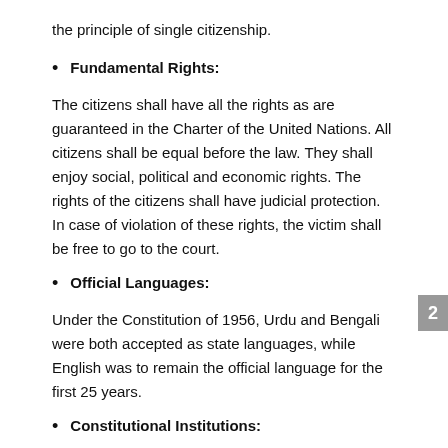the principle of single citizenship.
Fundamental Rights:
The citizens shall have all the rights as are guaranteed in the Charter of the United Nations. All citizens shall be equal before the law. They shall enjoy social, political and economic rights. The rights of the citizens shall have judicial protection. In case of violation of these rights, the victim shall be free to go to the court.
Official Languages:
Under the Constitution of 1956, Urdu and Bengali were both accepted as state languages, while English was to remain the official language for the first 25 years.
Constitutional Institutions:
Under this Constitution, various constitutional